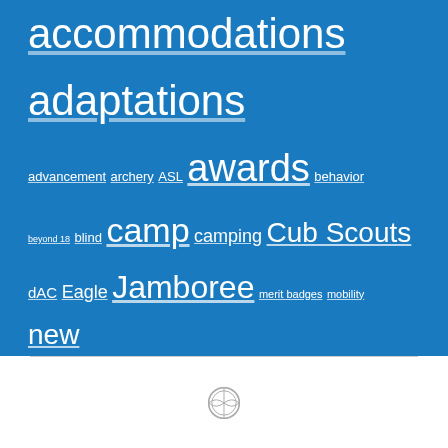accommodations adaptations advancement archery ASL awards behavior beyond 18 blind camp camping Cub Scouts dAC Eagle Jamboree merit badges mobility new members Philmont Scouts BSA Seabase sign language SNSSA summer camp Summit Toolbox Torch of Gold training Woods Services
[Figure (logo): WordPress logo icon at bottom center of page]